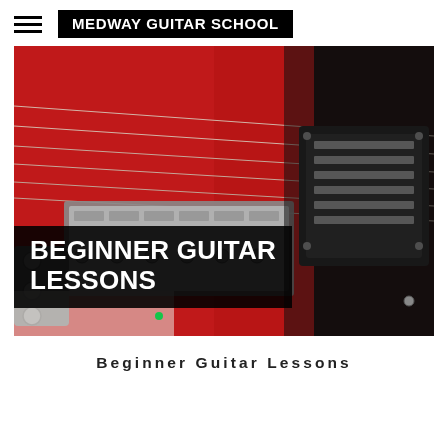MEDWAY GUITAR SCHOOL
[Figure (photo): Close-up photo of a red electric guitar body showing the bridge, strings, and humbucker pickup with chrome hardware on a dark pickguard. Text overlay reads BEGINNER GUITAR LESSONS.]
Beginner Guitar Lessons